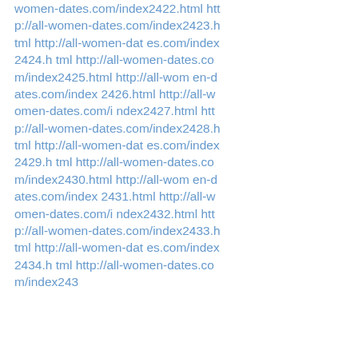women-dates.com/index2422.html http://all-women-dates.com/index2423.html http://all-women-dates.com/index2424.html http://all-women-dates.com/index2425.html http://all-women-dates.com/index2426.html http://all-women-dates.com/index2427.html http://all-women-dates.com/index2428.html http://all-women-dates.com/index2429.html http://all-women-dates.com/index2430.html http://all-women-dates.com/index2431.html http://all-women-dates.com/index2432.html http://all-women-dates.com/index2433.html http://all-women-dates.com/index2434.html http://all-women-dates.com/index243